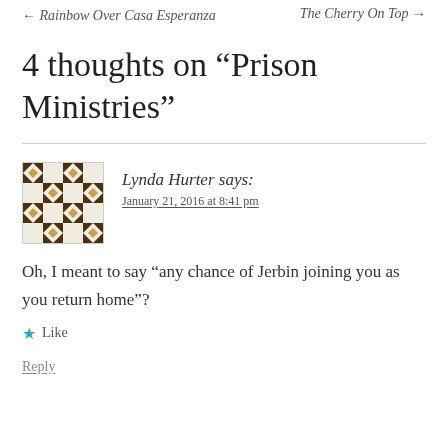← Rainbow Over Casa Esperanza    The Cherry On Top →
4 thoughts on “Prison Ministries”
Lynda Hurter says:
January 21, 2016 at 8:41 pm
Oh, I meant to say “any chance of Jerbin joining you as you return home”?
★ Like
Reply